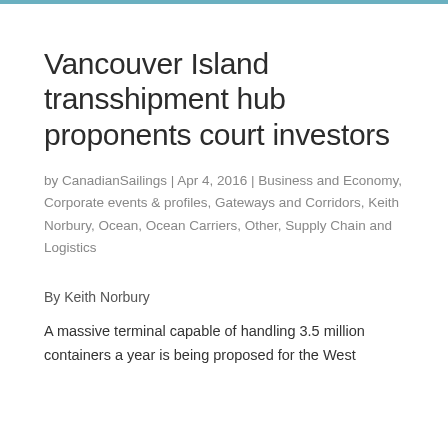Vancouver Island transshipment hub proponents court investors
by CanadianSailings | Apr 4, 2016 | Business and Economy, Corporate events & profiles, Gateways and Corridors, Keith Norbury, Ocean, Ocean Carriers, Other, Supply Chain and Logistics
By Keith Norbury
A massive terminal capable of handling 3.5 million containers a year is being proposed for the West